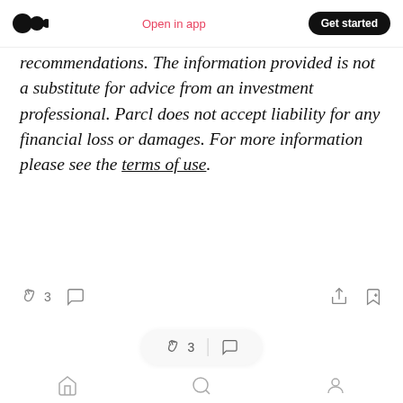Open in app | Get started
recommendations. The information provided is not a substitute for advice from an investment professional. Parcl does not accept liability for any financial loss or damages. For more information please see the terms of use.
[Figure (screenshot): Article action bar with clap icon showing count 3, comment icon, share icon, and save icon]
[Figure (screenshot): Floating pill with clap icon showing count 3 and comment icon]
[Figure (screenshot): Bottom navigation bar with home, search, and profile icons]